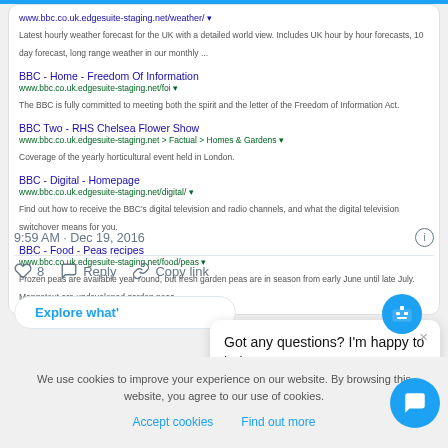[Figure (screenshot): Search results showing BBC website links: BBC Weather, BBC Freedom of Information, BBC Two RHS Chelsea Flower Show, BBC Digital Homepage, BBC Food Peas recipes]
9:59 AM · Dec 19, 2016
♡ 8  Reply  Copy link
Explore what'
Got any questions? I'm happy to help.
We use cookies to improve your experience on our website. By browsing this website, you agree to our use of cookies.
Accept cookies  Find out more